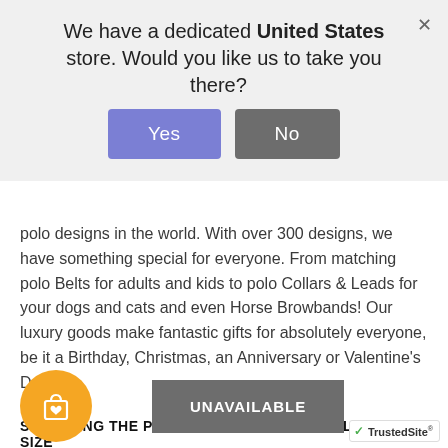We have a dedicated United States store. Would you like us to take you there?
polo designs in the world. With over 300 designs, we have something special for everyone. From matching polo Belts for adults and kids to polo Collars & Leads for your dogs and cats and even Horse Browbands! Our luxury goods make fantastic gifts for absolutely everyone, be it a Birthday, Christmas, an Anniversary or Valentine's Day!
SELECTING THE PERFECT CARLOS DIAZ POLO BELT SIZE
[Figure (other): Orange circle with shopping bag and heart icon]
UNAVAILABLE
[Figure (logo): TrustedSite badge with green checkmark]